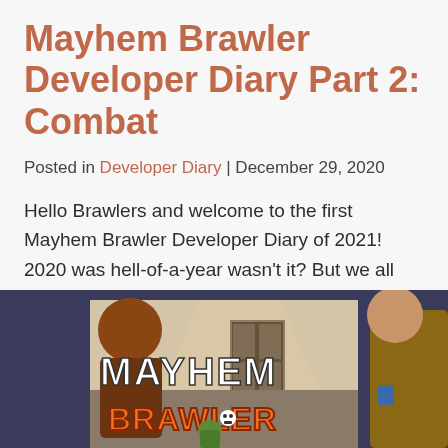Mayhem Brawler Developer Diary Part 2: Combat
Posted in Developer Diary | December 29, 2020
Hello Brawlers and welcome to the first Mayhem Brawler Developer Diary of 2021! 2020 was hell-of-a-year wasn't it? But we all have made it […]
Read More
[Figure (illustration): Mayhem Brawler game screenshot showing characters in a side-scrolling brawler environment with the game logo visible]